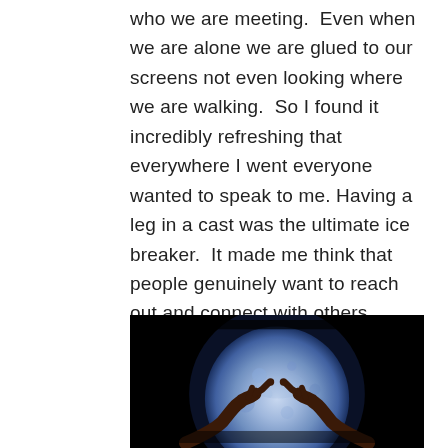who we are meeting.  Even when we are alone we are glued to our screens not even looking where we are walking.  So I found it incredibly refreshing that everywhere I went everyone wanted to speak to me. Having a leg in a cast was the ultimate ice breaker.  It made me think that people genuinely want to reach out and connect with others.  Care and kindness and curiosity in abundance.  What normally stops this?  Do we not know how to open conversations with strangers? Are we afraid? We are closed to others with invisible walls?  Mental note to self.  Reach out and connect more. Be more human.
[Figure (photo): Dark photograph showing two hands reaching toward each other with fingertips nearly touching, set against a large glowing blue moon on a black background — reminiscent of the E.T. movie image.]